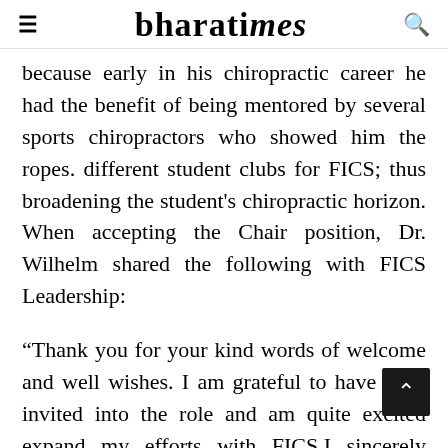bharatimes
because early in his chiropractic career he had the benefit of being mentored by several sports chiropractors who showed him the ropes. different student clubs for FICS; thus broadening the student's chiropractic horizon. When accepting the Chair position, Dr. Wilhelm shared the following with FICS Leadership:
“Thank you for your kind words of welcome and well wishes. I am grateful to have been invited into the role and am quite excited expand my efforts with FICS.I sincerely appreciate (Previous Directors) Gillian and